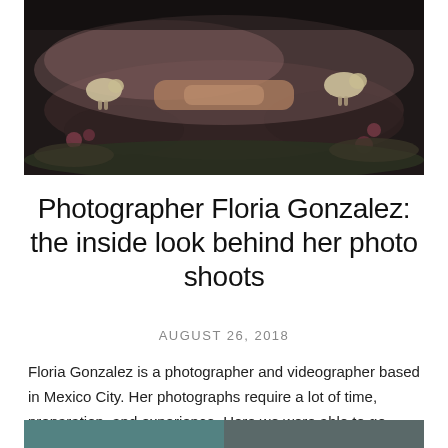[Figure (photo): Dark moody photograph showing hands, sheep figurines, and flowers on grass with pink fabric]
Photographer Floria Gonzalez: the inside look behind her photo shoots
AUGUST 26, 2018
Floria Gonzalez is a photographer and videographer based in Mexico City. Her photographs require a lot of time, preparation, and experience. Here we were able to go behind the scenes…
[Figure (photo): Partial view of another photograph at the bottom of the page, teal/aqua tones]